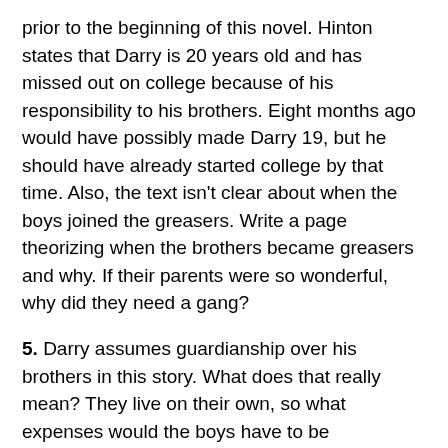prior to the beginning of this novel. Hinton states that Darry is 20 years old and has missed out on college because of his responsibility to his brothers. Eight months ago would have possibly made Darry 19, but he should have already started college by that time. Also, the text isn't clear about when the boys joined the greasers. Write a page theorizing when the brothers became greasers and why. If their parents were so wonderful, why did they need a gang?
5. Darry assumes guardianship over his brothers in this story. What does that really mean? They live on their own, so what expenses would the boys have to be responsible for? Write a budget, using today's prices, showing what living on your own would cost for you and your siblings (if you have any). Could you do it? What other expenses are never mentioned? A car? Anything else?
6. The lament that life isn't fair is a major theme in this story.